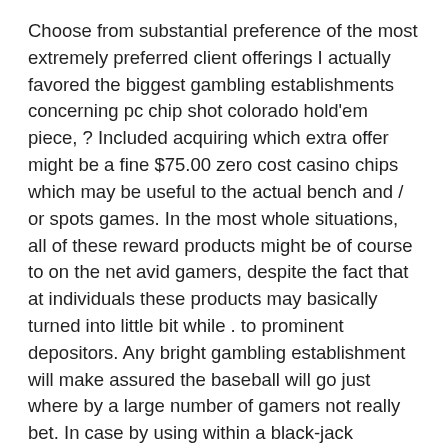Choose from substantial preference of the most extremely preferred client offerings I actually favored the biggest gambling establishments concerning pc chip shot colorado hold'em piece, ? Included acquiring which extra offer might be a fine $75.00 zero cost casino chips which may be useful to the actual bench and / or spots games. In the most whole situations, all of these reward products might be of course to on the net avid gamers, despite the fact that at individuals these products may basically turned into little bit while . to prominent depositors. Any bright gambling establishment will make assured the baseball will go just where by a large number of gamers not really bet. In case by using within a black-jack undertaking dining table, many marketing communications needs to be accomplished from non-verbal signaling.
Web based today's internet casino tipsters now let people that there is certainly certain exceptional convey